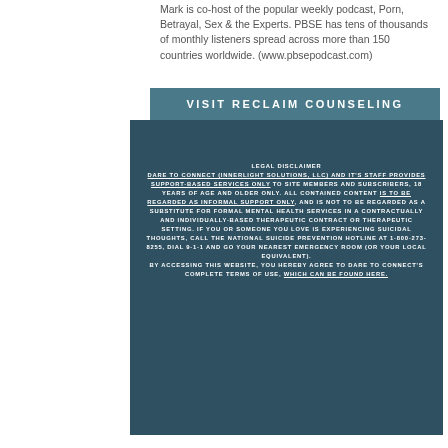Mark is co-host of the popular weekly podcast, Porn, Betrayal, Sex & the Experts. PBSE has tens of thousands of monthly listeners spread across more than 150 countries worldwide. (www.pbsepodcast.com)
VISIT RECLAIM COUNSELING
LEGAL DISCLAIMER DARE TO CONNECT (INNERLIGHT SOLUTIONS, LLC) AND IT'S STAFF PROVIDES SUPPORT-BASED SERVICES ONLY TO SITE MEMBERS AND SUBSCRIBERS, 18 YEARS OF AGE AND OLDER ONLY. ALL CONTAINED CONTENT IS TO BE REGARDED AS INFORMAL SUPPORT ONLY, AND IS NOT TO BE REGARDED AS A SUBSTITUTE FOR FORMAL MENTAL HEALTH SERVICES IN A CONTRACTUALLY AND INDIVIDUALLY-BASED THERAPEUTIC CONTRACT OR THERAPEUTIC SETTING. IF YOU OR SOMEONE YOU LOVE IS EXPERIENCING SUICIDAL THOUGHTS, CALL THE NATIONAL SUICIDE PREVENTION HOTLINE AT 1-800-273-8255, DIAL 9-1-1 AND GO YOUR NEAREST EMERGENCY ROOM (OR YOUR LOCAL EQUIVALENT). BY ACCESSING THIS WEBSITE, YOU HEREBY AGREE TO DARE TO CONNECT'S COMPLETE TERMS OF USE, WHICH CAN BE FOUND HERE.
TERMS OF USE & PRIVACY POLICY
© 2022 InnerLight Solutions, LLC